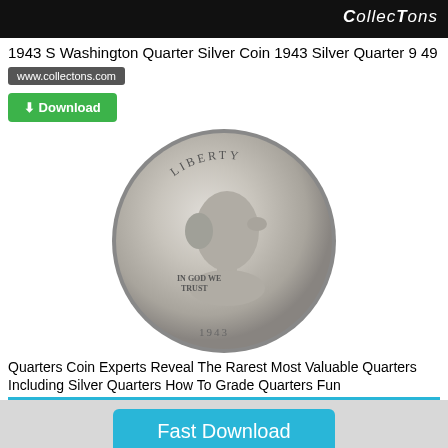[Figure (photo): Top dark banner with CollecTons logo in white italic text on black background]
1943 S Washington Quarter Silver Coin 1943 Silver Quarter 9 49
www.collectons.com
[Figure (other): Green Download button with download icon]
[Figure (photo): Silver Washington Quarter coin showing obverse with Washington portrait, LIBERTY at top, IN GOD WE TRUST inscription, and partial date 1943]
Quarters Coin Experts Reveal The Rarest Most Valuable Quarters Including Silver Quarters How To Grade Quarters Fun
[Figure (other): Light blue Fast Download button on gray background bar]